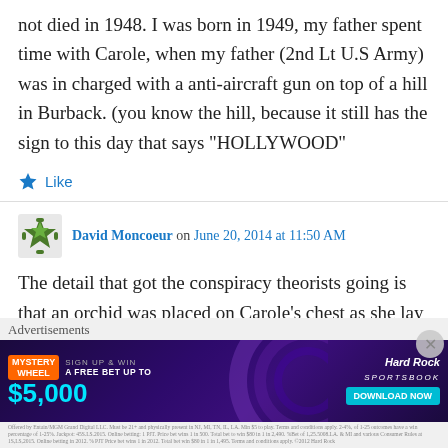not died in 1948. I was born in 1949, my father spent time with Carole, when my father (2nd Lt U.S Army) was in charged with a anti-aircraft gun on top of a hill in Burback. (you know the hill, because it still has the sign to this day that says “HOLLYWOOD”
Like
David Moncoeur on June 20, 2014 at 11:50 AM
The detail that got the conspiracy theorists going is that an orchid was placed on Carole’s chest as she lay ‘in state’, she had specifically mentioned
[Figure (infographic): Hard Rock Sportsbook advertisement banner: Mystery Wheel promotion, Sign up & win a free bet up to $5,000, Download Now button, with purple/dark background and cyan text]
Advertisements